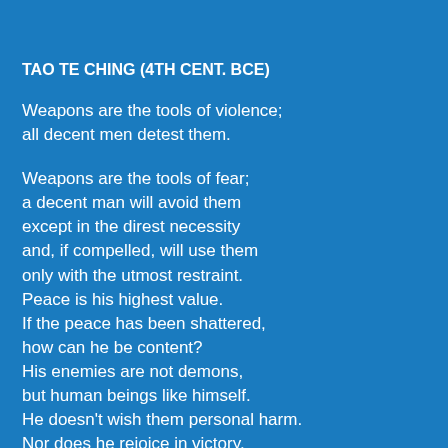TAO TE CHING (4TH CENT. BCE)
Weapons are the tools of violence;
all decent men detest them.
Weapons are the tools of fear;
a decent man will avoid them
except in the direst necessity
and, if compelled, will use them
only with the utmost restraint.
Peace is his highest value.
If the peace has been shattered,
how can he be content?
His enemies are not demons,
but human beings like himself.
He doesn't wish them personal harm.
Nor does he rejoice in victory.
How could he rejoice in victory
and delight in the slaughter of men?
He enters a battle gravely,
with sorrow and with great compassion,